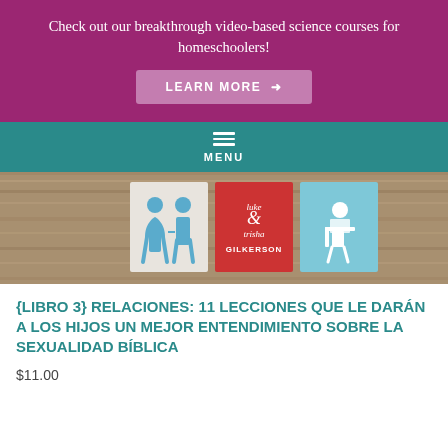Check out our breakthrough video-based science courses for homeschoolers!
LEARN MORE →
MENU
[Figure (illustration): Hero image showing three tiles on a wooden background: a white tile with two human figures (male and female), a red tile with 'luke & trisha GILKERSON' text, and a light blue tile with a seated person at a desk icon.]
{LIBRO 3} RELACIONES: 11 LECCIONES QUE LE DARÁN A LOS HIJOS UN MEJOR ENTENDIMIENTO SOBRE LA SEXUALIDAD BÍBLICA
$11.00